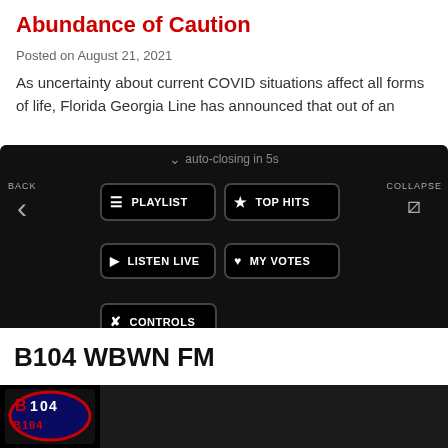Abundance of Caution
Posted on August 21, 2021
As uncertainty about current COVID situations affect all forms of life, Florida Georgia Line has announced that out of an
[Figure (screenshot): Dark radio station app navigation menu overlay showing: auto-closing in 5s, BACK arrow, COLLAPSE button, PLAYLIST, TOP HITS, LISTEN LIVE, MY VOTES, CONTROLS buttons, Data opt-out toggle, and B104 WBWN FM player bar at bottom with MENU, X, and play button controls.]